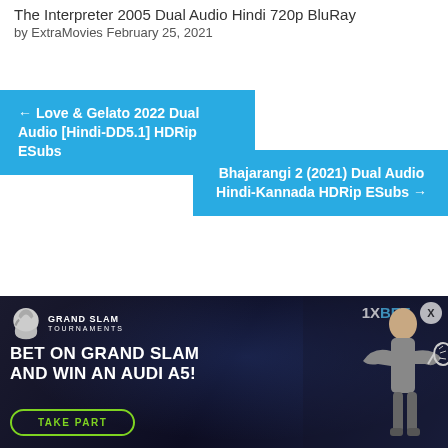The Interpreter 2005 Dual Audio Hindi 720p BluRay
by ExtraMovies February 25, 2021
← Love & Gelato 2022 Dual Audio [Hindi-DD5.1] HDRip ESubs
Bhajarangi 2 (2021) Dual Audio Hindi-Kannada HDRip ESubs →
[Figure (photo): 1xBet advertisement banner for Grand Slam Tournaments. Dark background with a female tennis player. Text: BET ON GRAND SLAM AND WIN AN AUDI A5! TAKE PART button. Logo: Grand Slam Tournaments with helmet icon and 1XBET branding.]